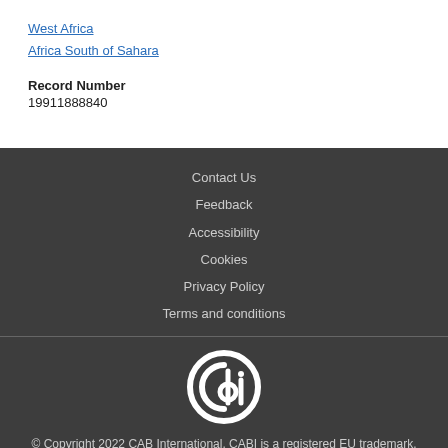West Africa
Africa South of Sahara
Record Number
19911888840
Contact Us
Feedback
Accessibility
Cookies
Privacy Policy
Terms and conditions
© Copyright 2022 CAB International. CABI is a registered EU trademark.